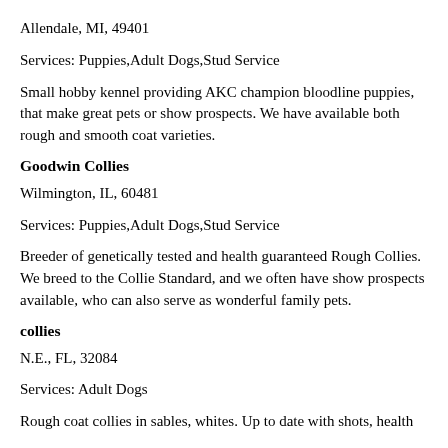Allendale, MI, 49401
Services: Puppies,Adult Dogs,Stud Service
Small hobby kennel providing AKC champion bloodline puppies, that make great pets or show prospects. We have available both rough and smooth coat varieties.
Goodwin Collies
Wilmington, IL, 60481
Services: Puppies,Adult Dogs,Stud Service
Breeder of genetically tested and health guaranteed Rough Collies. We breed to the Collie Standard, and we often have show prospects available, who can also serve as wonderful family pets.
collies
N.E., FL, 32084
Services: Adult Dogs
Rough coat collies in sables, whites. Up to date with shots, health